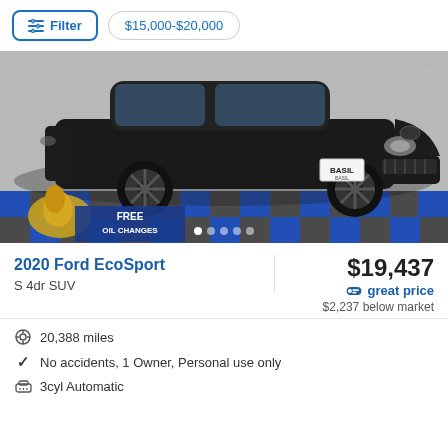Filter  $15,000-$20,000
[Figure (photo): Black 2020 Ford EcoSport SUV photographed in a showroom with blue and gray checkered floor tiles. A golden mascot and 'FREE OIL CHANGES' banner visible in bottom-left. 'BASIL' dealer plate on car. Image carousel with 5 dots at bottom.]
2020 Ford EcoSport
S 4dr SUV
$19,437
great price
$2,237 below market
20,388 miles
No accidents, 1 Owner, Personal use only
3cyl Automatic